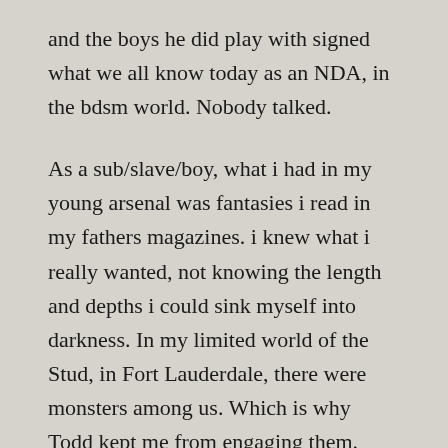and the boys he did play with signed what we all know today as an NDA, in the bdsm world. Nobody talked.
As a sub/slave/boy, what i had in my young arsenal was fantasies i read in my fathers magazines. i knew what i really wanted, not knowing the length and depths i could sink myself into darkness. In my limited world of the Stud, in Fort Lauderdale, there were monsters among us. Which is why Todd kept me from engaging them. Those they took with them, all died together.